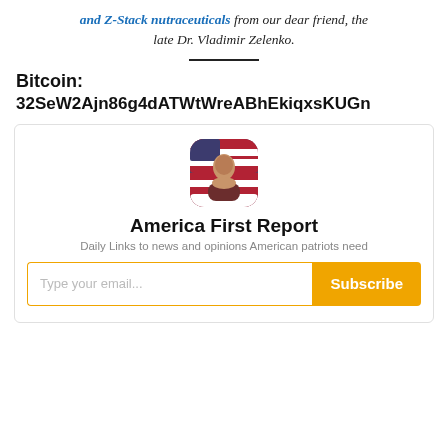and Z-Stack nutraceuticals from our dear friend, the late Dr. Vladimir Zelenko.
Bitcoin:
32SeW2Ajn86g4dATWtWreABhEkiqxsKUGn
[Figure (infographic): America First Report newsletter subscription widget with avatar photo, title, subtitle, email input and subscribe button]
America First Report
Daily Links to news and opinions American patriots need